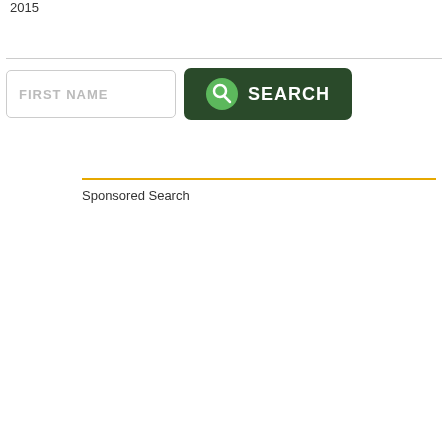2015
[Figure (screenshot): Search form with FIRST NAME input field and green SEARCH button]
Sponsored Search